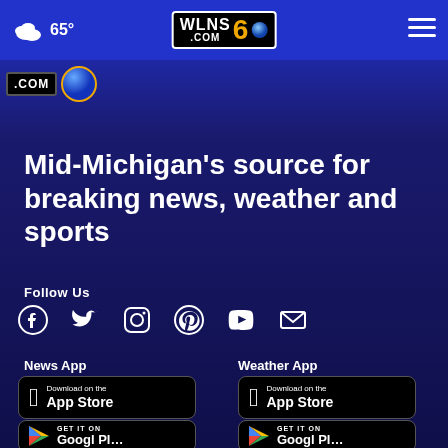65° | WLNS6.COM
[Figure (logo): WLNS 6 .COM partial logo]
Mid-Michigan's source for breaking news, weather and sports
Follow Us
[Figure (infographic): Social media icons: Facebook, Twitter, Instagram, Pinterest, YouTube, Email]
News App
Weather App
[Figure (screenshot): Download on the App Store button (News App)]
[Figure (screenshot): Download on the App Store button (Weather App)]
[Figure (screenshot): GET IT ON Google Play button (News App, partial)]
[Figure (screenshot): GET IT ON Google Play button (Weather App, partial)]